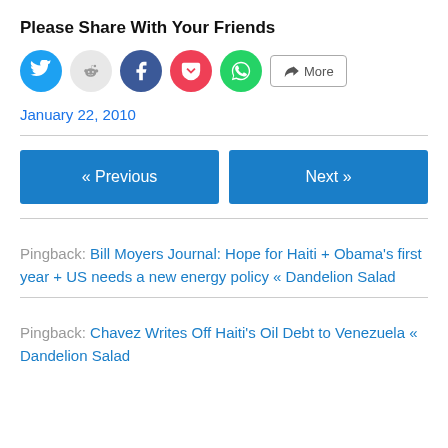Please Share With Your Friends
[Figure (infographic): Social share buttons: Twitter (blue circle), Reddit (light grey circle), Facebook (blue circle), Pocket (red/pink circle), WhatsApp (green circle), and a More button with share icon]
January 22, 2010
« Previous
Next »
Pingback: Bill Moyers Journal: Hope for Haiti + Obama's first year + US needs a new energy policy « Dandelion Salad
Pingback: Chavez Writes Off Haiti's Oil Debt to Venezuela « Dandelion Salad